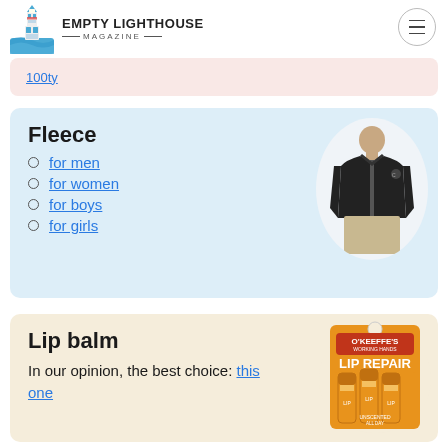EMPTY LIGHTHOUSE MAGAZINE
100ty
Fleece
for men
for women
for boys
for girls
[Figure (photo): Man wearing a black zip-up fleece jacket]
Lip balm
In our opinion, the best choice: this one
[Figure (photo): O'Keeffe's Lip Repair lip balm product package with multiple sticks]